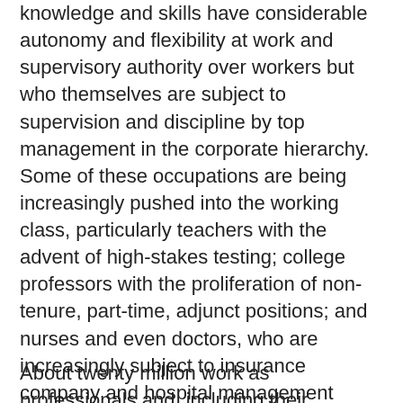knowledge and skills have considerable autonomy and flexibility at work and supervisory authority over workers but who themselves are subject to supervision and discipline by top management in the corporate hierarchy. Some of these occupations are being increasingly pushed into the working class, particularly teachers with the advent of high-stakes testing; college professors with the proliferation of non-tenure, part-time, adjunct positions; and nurses and even doctors, who are increasingly subject to insurance company and hospital management decisions about what care will be paid for and for speedup of the patient-doctor encounter to increase “productivity.”
About twenty million work as professionals and, including their families, comprise about 20...